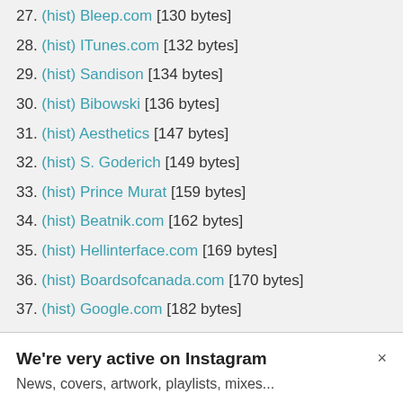27. (hist) Bleep.com [130 bytes]
28. (hist) ITunes.com [132 bytes]
29. (hist) Sandison [134 bytes]
30. (hist) Bibowski [136 bytes]
31. (hist) Aesthetics [147 bytes]
32. (hist) S. Goderich [149 bytes]
33. (hist) Prince Murat [159 bytes]
34. (hist) Beatnik.com [162 bytes]
35. (hist) Hellinterface.com [169 bytes]
36. (hist) Boardsofcanada.com [170 bytes]
37. (hist) Google.com [182 bytes]
We're very active on Instagram
News, covers, artwork, playlists, mixes...
Don't miss out, follow us now